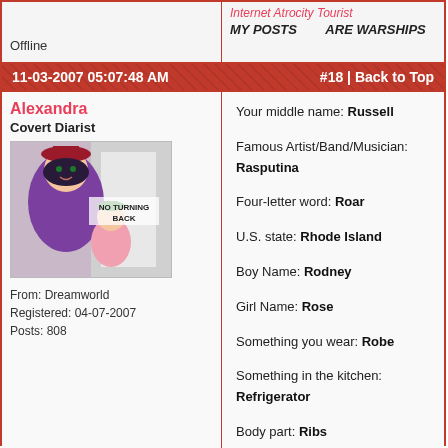Offline
Internet Atrocity Tourist
MY POSTS   ARE WARSHIPS
11-03-2007 05:07:48 AM   #18 | Back to Top
Alexandra
Covert Diarist
[Figure (illustration): Anime-style illustration showing characters with text 'NO TURNING BACK']
From: Dreamworld
Registered: 04-07-2007
Posts: 808
Your middle name: Russell
Famous Artist/Band/Musician:
Rasputina
Four-letter word: Roar
U.S. state: Rhode Island
Boy Name: Rodney
Girl Name: Rose
Something you wear: Robe
Something in the kitchen: Refrigerator
Body part: Ribs
Drink: Rockstar